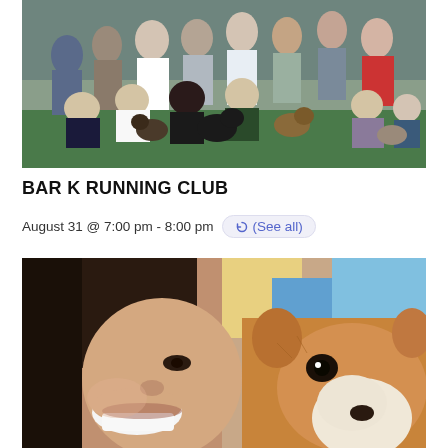[Figure (photo): Group photo of people and dogs posing outdoors on green turf, smiling at the camera. Mix of adults in athletic wear with several dogs including German Shepherds and other breeds.]
BAR K RUNNING CLUB
August 31 @ 7:00 pm - 8:00 pm  (See all)
[Figure (photo): Close-up selfie of a smiling woman with dark hair next to a fluffy Corgi dog with brown and white fur.]